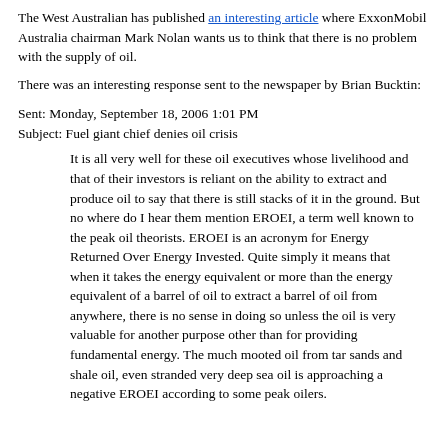The West Australian has published an interesting article where ExxonMobil Australia chairman Mark Nolan wants us to think that there is no problem with the supply of oil.
There was an interesting response sent to the newspaper by Brian Bucktin:
Sent: Monday, September 18, 2006 1:01 PM
Subject: Fuel giant chief denies oil crisis
It is all very well for these oil executives whose livelihood and that of their investors is reliant on the ability to extract and produce oil to say that there is still stacks of it in the ground. But no where do I hear them mention EROEI, a term well known to the peak oil theorists. EROEI is an acronym for Energy Returned Over Energy Invested. Quite simply it means that when it takes the energy equivalent or more than the energy equivalent of a barrel of oil to extract a barrel of oil from anywhere, there is no sense in doing so unless the oil is very valuable for another purpose other than for providing fundamental energy. The much mooted oil from tar sands and shale oil, even stranded very deep sea oil is approaching a negative EROEI according to some peak oilers.